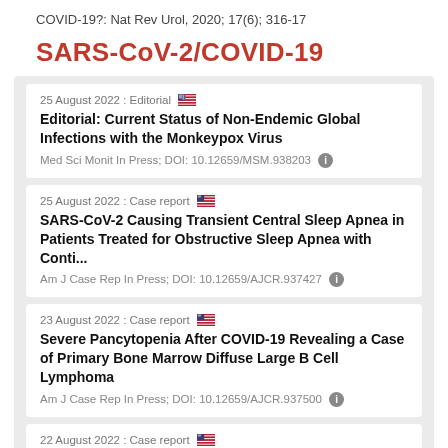COVID-19?: Nat Rev Urol, 2020; 17(6); 316-17
SARS-CoV-2/COVID-19
25 August 2022 : Editorial | Editorial: Current Status of Non-Endemic Global Infections with the Monkeypox Virus | Med Sci Monit In Press; DOI: 10.12659/MSM.938203
25 August 2022 : Case report | SARS-CoV-2 Causing Transient Central Sleep Apnea in Patients Treated for Obstructive Sleep Apnea with Conti... | Am J Case Rep In Press; DOI: 10.12659/AJCR.937427
23 August 2022 : Case report | Severe Pancytopenia After COVID-19 Revealing a Case of Primary Bone Marrow Diffuse Large B Cell Lymphoma | Am J Case Rep In Press; DOI: 10.12659/AJCR.937500
22 August 2022 : Case report